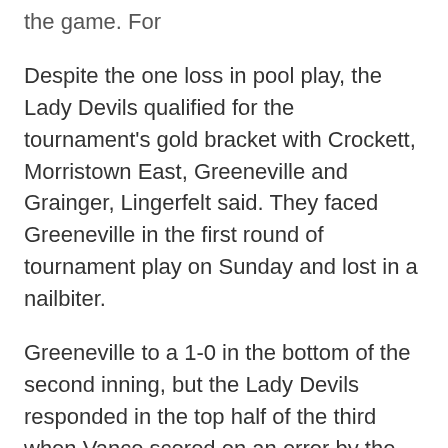the game. For
Despite the one loss in pool play, the Lady Devils qualified for the tournament's gold bracket with Crockett, Morristown East, Greeneville and Grainger, Lingerfelt said. They faced Greeneville in the first round of tournament play on Sunday and lost in a nailbiter.
Greeneville to a 1-0 in the bottom of the second inning, but the Lady Devils responded in the top half of the third when Vance scored on an error by the shortstop. Each team was held scoreless until the bottom of the final inning when Greeneville scored on a sacrifice-fly to win the game 2-1. The loss eliminated the Lady Devils from the tournament.
Bennett had 2 hits in the game. Hawkins, Powers and Chavez each had 1 hit.